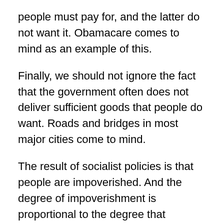people must pay for, and the latter do not want it. Obamacare comes to mind as an example of this.
Finally, we should not ignore the fact that the government often does not deliver sufficient goods that people do want. Roads and bridges in most major cities come to mind.
The result of socialist policies is that people are impoverished. And the degree of impoverishment is proportional to the degree that socialist policies are imposed. North Korea is the most consistently socialist, and therefore the most miserable (and would be even more so, if not for subsidies from China).
A society can slide towards socialism by degrees. It is not capitalism all the way and only socialism when it finally